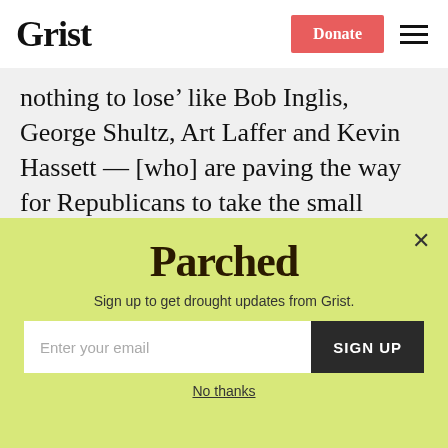Grist | Donate
nothing to lose’ like Bob Inglis, George Shultz, Art Laffer and Kevin Hassett — [who] are paving the way for Republicans to take the small government, pro-growth conservative stand on climate change.”
We’ve also been hearing anecdotes about young conservatives who want the
[Figure (infographic): Parched newsletter signup popup with yellow-green background. Shows 'Parched' logo text, subtitle 'Sign up to get drought updates from Grist.', an email input field, a 'SIGN UP' button, a close X button, and a 'No thanks' link.]